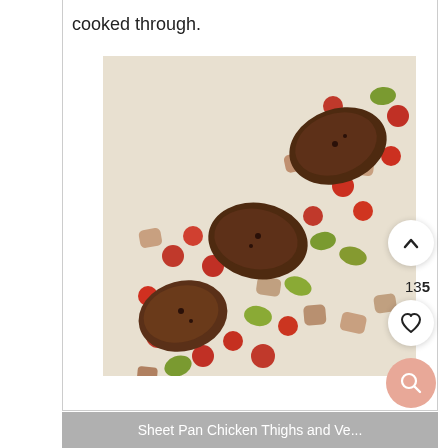cooked through.
[Figure (photo): Sheet pan with roasted chicken thighs and mixed vegetables including cherry tomatoes, zucchini, and potatoes on a baking tray.]
VIDEO
[Figure (screenshot): Video thumbnail showing 'Sheet Pan Chicken Thighs and Ve...' with a gray background.]